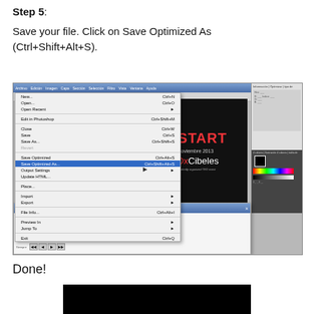Step 5:
Save your file. Click on Save Optimized As (Ctrl+Shift+Alt+S).
[Figure (screenshot): Screenshot of image editing software (Adobe ImageReady) showing a dropdown File menu with 'Save Optimized As...' highlighted in blue, with a TEDx Cibeles RESTART poster visible in the background workspace.]
Done!
[Figure (screenshot): Black rectangle representing the bottom portion of a screenshot or image (partially visible).]